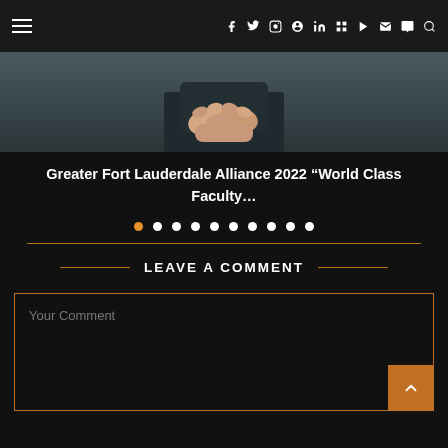Navigation bar with hamburger menu and social icons: f, twitter, instagram, pinterest, linkedin, flickr, youtube, email, vimeo, search
[Figure (photo): Close-up photo of a person's hands clasped together, seated, wearing dark clothing, against a muted background]
Greater Fort Lauderdale Alliance 2022 “World Class Faculty…
[Figure (infographic): Slideshow navigation dots: 10 dots, first one orange/active, rest white]
LEAVE A COMMENT
Your Comment